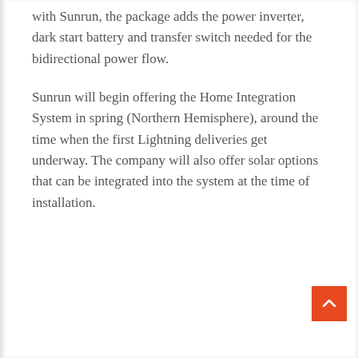with Sunrun, the package adds the power inverter, dark start battery and transfer switch needed for the bidirectional power flow.
Sunrun will begin offering the Home Integration System in spring (Northern Hemisphere), around the time when the first Lightning deliveries get underway. The company will also offer solar options that can be integrated into the system at the time of installation.